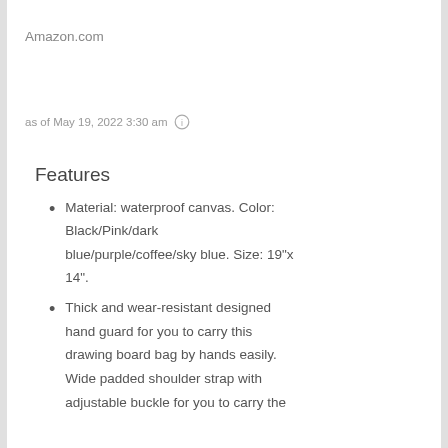Amazon.com
as of May 19, 2022 3:30 am ℹ
Features
Material: waterproof canvas. Color: Black/Pink/dark blue/purple/coffee/sky blue. Size: 19"x 14".
Thick and wear-resistant designed hand guard for you to carry this drawing board bag by hands easily. Wide padded shoulder strap with adjustable buckle for you to carry the